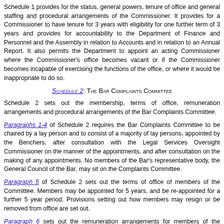Schedule 1 provides for the status, general powers, tenure of office and general staffing and procedural arrangements of the Commissioner. It provides for a Commissioner to have tenure for 3 years with eligibility for one further term of 3 years and provides for accountability to the Department of Finance and Personnel and the Assembly in relation to Accounts and in relation to an Annual Report. It also permits the Department to appoint an acting Commissioner where the Commissioner's office becomes vacant or if the Commissioner becomes incapable of exercising the functions of the office, or where it would be inappropriate to do so.
Schedule 2: The Bar Complaints Committee
Schedule 2 sets out the membership, terms of office, remuneration arrangements and procedural arrangements of the Bar Complaints Committee.
Paragraphs 1-4 of Schedule 2 requires the Bar Complaints Committee to be chaired by a lay person and to consist of a majority of lay persons, appointed by the Benchers, after consultation with the Legal Services Oversight Commissioner on the manner of the appointments, and after consultation on the making of any appointments. No members of the Bar's representative body, the General Council of the Bar, may sit on the Complaints Committee.
Paragraph 5 of Schedule 2 sets out the terms of office of members of the Committee. Members may be appointed for 5 years, and be re-appointed for a further 5 year period. Provisions setting out how members may resign or be removed from office are set out.
Paragraph 6 sets out the remuneration arrangements for members of the Committee and paragraph 7 allows it to make arrangements for